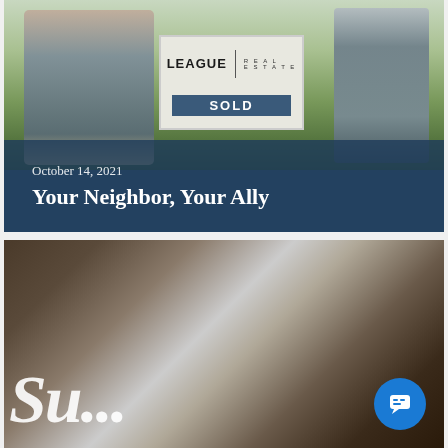[Figure (photo): Family of three (woman holding young child, man on right) standing in front of a house holding a League Real Estate SOLD sign]
October 14, 2021
Your Neighbor, Your Ally
[Figure (photo): Close-up of a storefront sign with cursive lettering and decorative architectural elements, with a chat widget button in bottom right corner]